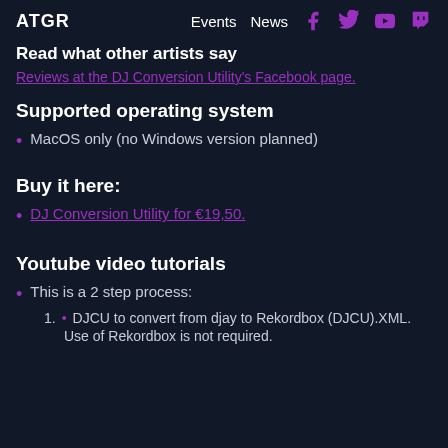ATGR   Events  News  [Facebook] [Twitter] [YouTube] [Twitch]
Read what other artists say
Reviews at the DJ Conversion Utility's Facebook page.
Supported operating system
MacOS only (no Windows version planned)
Buy it here:
DJ Conversion Utility for €19,50.
Youtube video tutorials
This is a 2 step process:
DJCU to convert from djay to Rekordbox (DJCU).XML.
Use of Rekordbox is not required.